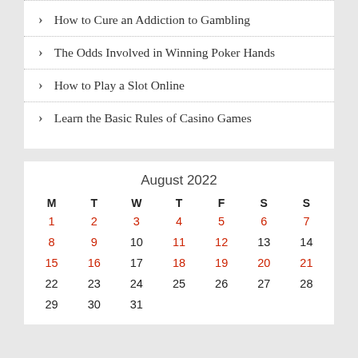How to Cure an Addiction to Gambling
The Odds Involved in Winning Poker Hands
How to Play a Slot Online
Learn the Basic Rules of Casino Games
| M | T | W | T | F | S | S |
| --- | --- | --- | --- | --- | --- | --- |
| 1 | 2 | 3 | 4 | 5 | 6 | 7 |
| 8 | 9 | 10 | 11 | 12 | 13 | 14 |
| 15 | 16 | 17 | 18 | 19 | 20 | 21 |
| 22 | 23 | 24 | 25 | 26 | 27 | 28 |
| 29 | 30 | 31 |  |  |  |  |